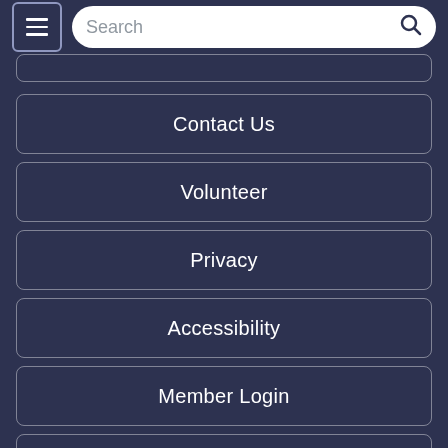Search
Contact Us
Volunteer
Privacy
Accessibility
Member Login
QHRNet
Connect With Us